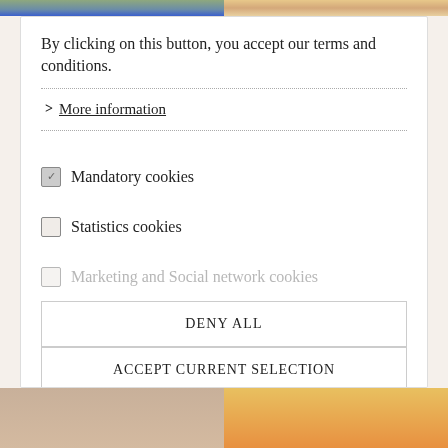[Figure (photo): Top partial image strip showing two fashion photos side by side]
By clicking on this button, you accept our terms and conditions.
> More information
Mandatory cookies (checked)
Statistics cookies (unchecked)
Marketing and Social network cookies (partially visible, unchecked)
DENY ALL
ACCEPT CURRENT SELECTION
ACCEPT ALL
[Figure (photo): Bottom partial image strip showing two fashion photos side by side]